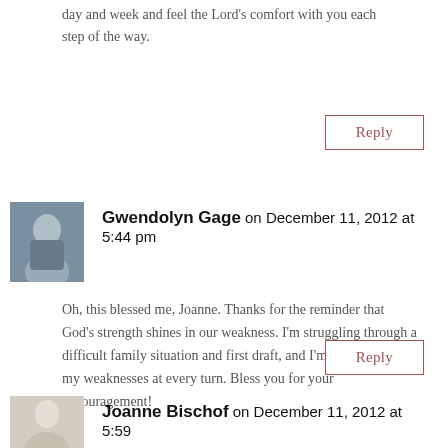day and week and feel the Lord's comfort with you each step of the way.
Reply
Gwendolyn Gage on December 11, 2012 at 5:44 pm
Oh, this blessed me, Joanne. Thanks for the reminder that God's strength shines in our weakness. I'm struggling through a difficult family situation and first draft, and I'm confronted with my weaknesses at every turn. Bless you for your encouragement!
Reply
Joanne Bischof on December 11, 2012 at 5:59